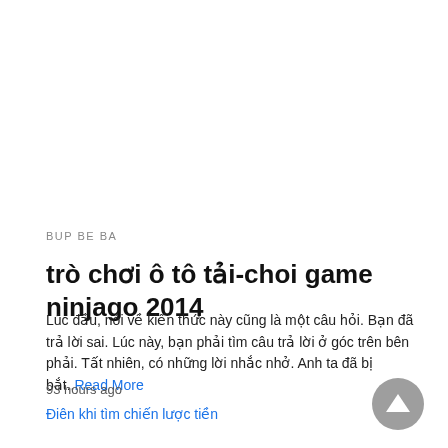BUP BE BA
trò chơi ô tô tải-choi game ninjago 2014
Lúc đầu, nói về kiến thức này cũng là một câu hỏi. Bạn đã trả lời sai. Lúc này, bạn phải tìm câu trả lời ở góc trên bên phải. Tất nhiên, có những lời nhắc nhở. Anh ta đã bị bắt..Read More
93 hours ago
[Figure (other): Thumbnail image link labeled: Điên khi tìm chiến lược tiền]